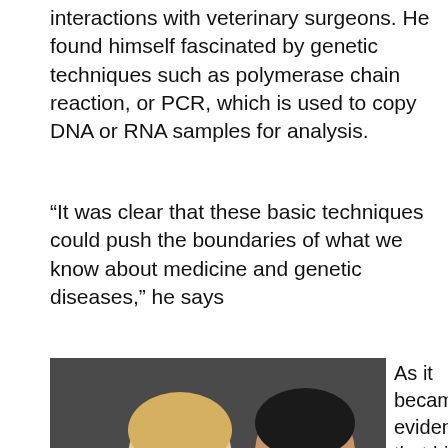interactions with veterinary surgeons. He found himself fascinated by genetic techniques such as polymerase chain reaction, or PCR, which is used to copy DNA or RNA samples for analysis.
“It was clear that these basic techniques could push the boundaries of what we know about medicine and genetic diseases,” he says
[Figure (photo): Two students leaning over a table examining a specimen. One wears a red Rutgers sweatshirt, the other a light blue shirt.]
As it became evident that his interests went beyond